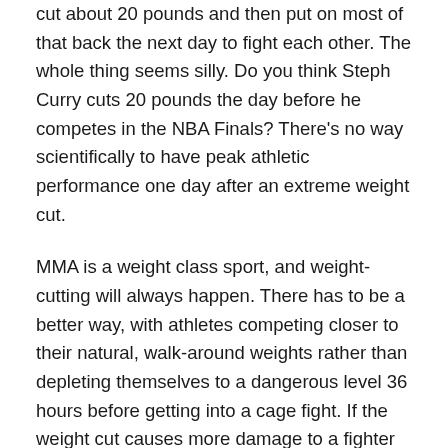cut about 20 pounds and then put on most of that back the next day to fight each other. The whole thing seems silly. Do you think Steph Curry cuts 20 pounds the day before he competes in the NBA Finals? There's no way scientifically to have peak athletic performance one day after an extreme weight cut.
MMA is a weight class sport, and weight-cutting will always happen. There has to be a better way, with athletes competing closer to their natural, walk-around weights rather than depleting themselves to a dangerous level 36 hours before getting into a cage fight. If the weight cut causes more damage to a fighter than the actual fight, then the system needs to be addressed.
Which fighters from the